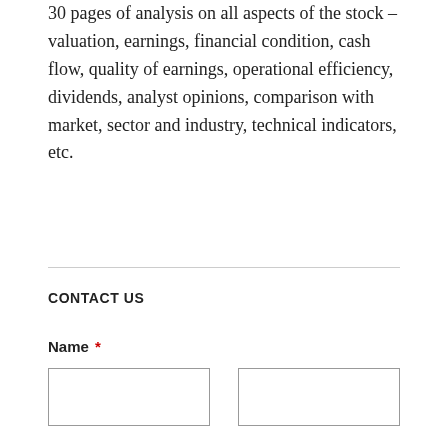30 pages of analysis on all aspects of the stock – valuation, earnings, financial condition, cash flow, quality of earnings, operational efficiency, dividends, analyst opinions, comparison with market, sector and industry, technical indicators, etc.
CONTACT US
Name *